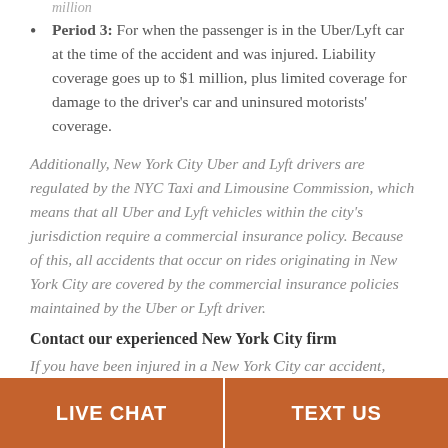Period 3: For when the passenger is in the Uber/Lyft car at the time of the accident and was injured. Liability coverage goes up to $1 million, plus limited coverage for damage to the driver’s car and uninsured motorists’ coverage.
Additionally, New York City Uber and Lyft drivers are regulated by the NYC Taxi and Limousine Commission, which means that all Uber and Lyft vehicles within the city’s jurisdiction require a commercial insurance policy. Because of this, all accidents that occur on rides originating in New York City are covered by the commercial insurance policies maintained by the Uber or Lyft driver.
Contact our experienced New York City firm
If you have been injured in a New York City car accident, Swerling Law is here to help. Our firm understands the challenges that many people face after being hurt in an accident and is prepared to help you receive an award of significant compensation to ease some of
LIVE CHAT   TEXT US